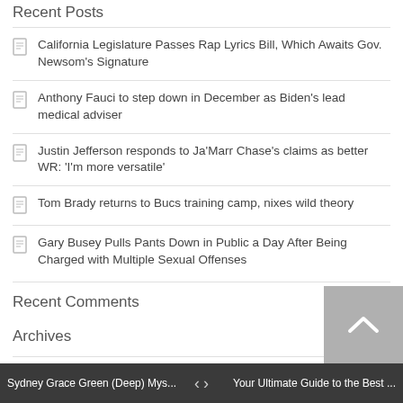Recent Posts
California Legislature Passes Rap Lyrics Bill, Which Awaits Gov. Newsom's Signature
Anthony Fauci to step down in December as Biden's lead medical adviser
Justin Jefferson responds to Ja'Marr Chase's claims as better WR: 'I'm more versatile'
Tom Brady returns to Bucs training camp, nixes wild theory
Gary Busey Pulls Pants Down in Public a Day After Being Charged with Multiple Sexual Offenses
Recent Comments
Archives
August 2022
July 2022
Sydney Grace Green (Deep) Mys... | Your Ultimate Guide to the Best ...